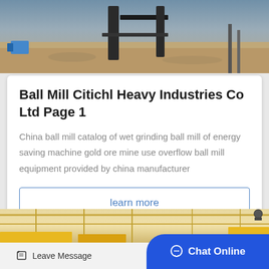[Figure (photo): Construction site photo showing drilling equipment, machinery, soil/sand ground with metal pipes and scaffolding]
Ball Mill Citichl Heavy Industries Co Ltd Page 1
China ball mill catalog of wet grinding ball mill of energy saving machine gold ore mine use overflow ball mill equipment provided by china manufacturer
learn more
[Figure (photo): Industrial facility interior showing yellow warehouse racking or machinery structures with metal framework and overhead piping]
Leave Message
Chat Online